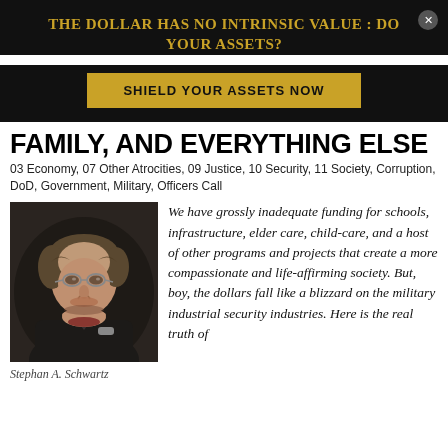THE DOLLAR HAS NO INTRINSIC VALUE : DO YOUR ASSETS?
[Figure (other): Gold/dark advertisement button: SHIELD YOUR ASSETS NOW]
FAMILY, AND EVERYTHING ELSE
03 Economy, 07 Other Atrocities, 09 Justice, 10 Security, 11 Society, Corruption, DoD, Government, Military, Officers Call
[Figure (photo): Portrait photo of Stephan A. Schwartz, a man with glasses and curly gray-brown hair, resting his chin on his hand, dark background]
Stephan A. Schwartz
We have grossly inadequate funding for schools, infrastructure, elder care, child-care, and a host of other programs and projects that create a more compassionate and life-affirming society. But, boy, the dollars fall like a blizzard on the military industrial security industries. Here is the real truth of